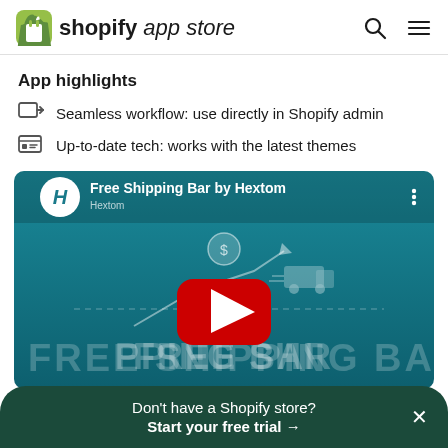shopify app store
App highlights
Seamless workflow: use directly in Shopify admin
Up-to-date tech: works with the latest themes
[Figure (screenshot): YouTube-style video thumbnail for 'Free Shipping Bar by Hextom' showing a teal/blue background with a dollar coin, upward arrow graph, delivery truck icons, large text 'FREE SHIPPING BAR', and a red YouTube play button in the center.]
Don't have a Shopify store? Start your free trial →